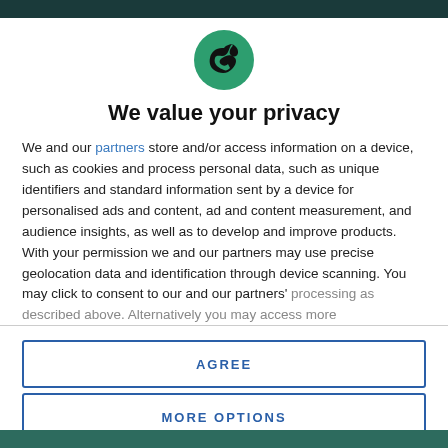[Figure (logo): Circular green logo with a black bird/raven silhouette facing right]
We value your privacy
We and our partners store and/or access information on a device, such as cookies and process personal data, such as unique identifiers and standard information sent by a device for personalised ads and content, ad and content measurement, and audience insights, as well as to develop and improve products. With your permission we and our partners may use precise geolocation data and identification through device scanning. You may click to consent to our and our partners' processing as described above. Alternatively you may access more
AGREE
MORE OPTIONS